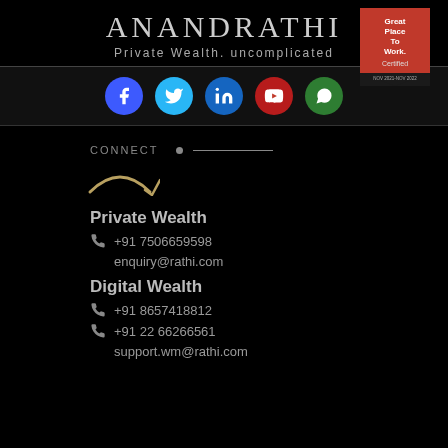[Figure (logo): AnandRathi Private Wealth branding with 'Great Place To Work Certified' badge]
[Figure (infographic): Social media icons: Facebook, Twitter, LinkedIn, YouTube, WhatsApp]
CONNECT
Private Wealth
+91 7506659598
enquiry@rathi.com
Digital Wealth
+91 8657418812
+91 22 66266561
support.wm@rathi.com